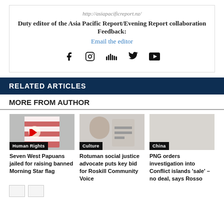http://asiapacificreport.nz/
Duty editor of the Asia Pacific Report/Evening Report collaboration Feedback:
Email the editor
[Figure (infographic): Social media icons: Facebook, Instagram, SoundCloud, Twitter, YouTube]
RELATED ARTICLES
MORE FROM AUTHOR
[Figure (photo): Image showing West Papuan Morning Star flag with Human Rights tag]
Seven West Papuans jailed for raising banned Morning Star flag
[Figure (photo): Image of Rotuman social justice advocate with Culture tag]
Rotuman social justice advocate puts key bid for Roskill Community Voice
[Figure (photo): Image related to China/PNG Conflict islands with China tag]
PNG orders investigation into Conflict islands 'sale' – no deal, says Rosso